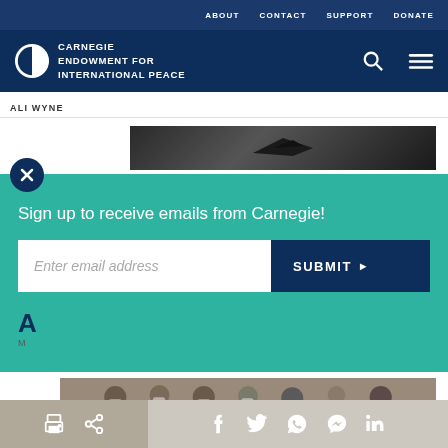ABOUT  CONTACT  SUPPORT  DONATE
[Figure (logo): Carnegie Endowment for International Peace logo with white circular icon and white text]
ALI WYNE
[Figure (photo): Partially visible photo showing military aircraft in dark tones]
Sign up to receive emails from Carnegie!
Enter email address
SUBMIT ▶
[Figure (photo): Partially visible photo showing group of people wearing masks]
Print | Share | Facebook | Twitter | WhatsApp | Messenger | LinkedIn